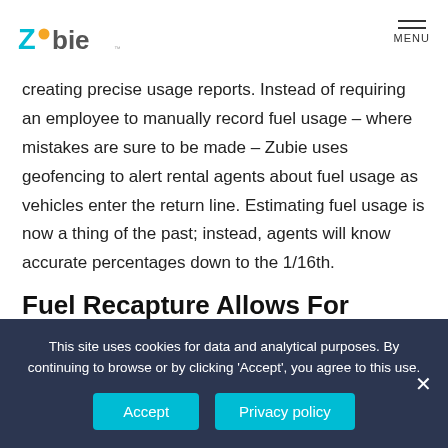Zubie [logo] | MENU
creating precise usage reports. Instead of requiring an employee to manually record fuel usage – where mistakes are sure to be made – Zubie uses geofencing to alert rental agents about fuel usage as vehicles enter the return line. Estimating fuel usage is now a thing of the past; instead, agents will know accurate percentages down to the 1/16th.
Fuel Recapture Allows For
This site uses cookies for data and analytical purposes. By continuing to browse or by clicking 'Accept', you agree to this use.